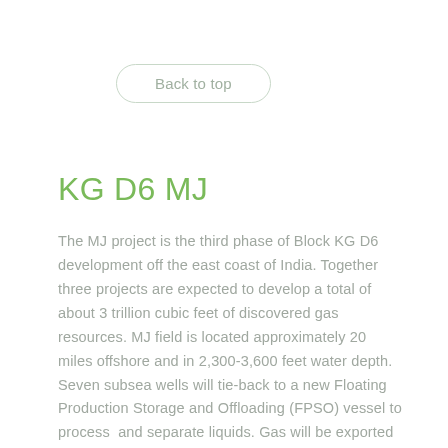Back to top
KG D6 MJ
The MJ project is the third phase of Block KG D6 development off the east coast of India. Together three projects are expected to develop a total of about 3 trillion cubic feet of discovered gas resources. MJ field is located approximately 20 miles offshore and in 2,300-3,600 feet water depth. Seven subsea wells will tie-back to a new Floating Production Storage and Offloading (FPSO) vessel to process and separate liquids. Gas will be exported to the onshore terminal through an existing 24-inch pipeline.